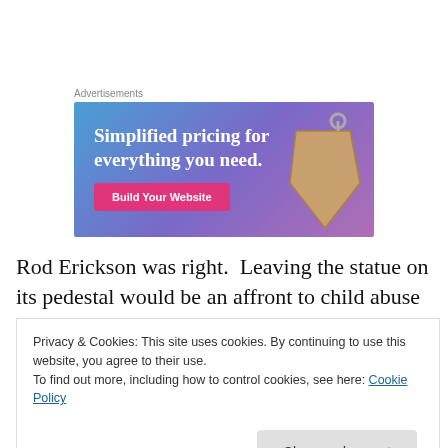Advertisements
[Figure (illustration): Advertisement banner with gradient blue-purple background. Text reads 'Simplified pricing for everything you need.' with a pink 'Build Your Website' button and a price tag graphic on the right.]
Rod Erickson was right.  Leaving the statue on its pedestal would be an affront to child abuse victims and survivors.  It
Privacy & Cookies: This site uses cookies. By continuing to use this website, you agree to their use.
To find out more, including how to control cookies, see here: Cookie Policy

Close and accept
that letting those boys suffer at the hands of their